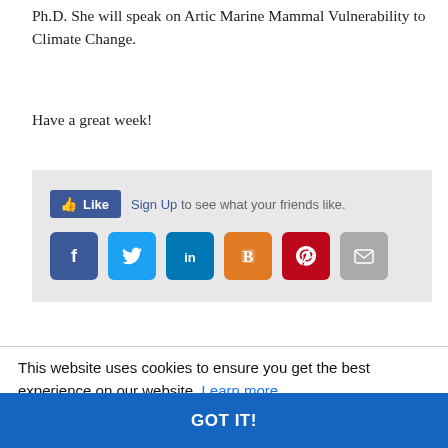Ph.D. She will speak on Artic Marine Mammal Vulnerability to Climate Change.
Have a great week!
[Figure (other): Social sharing widget with a Facebook Like button ('Sign Up to see what your friends like.') and six social media icon buttons: Facebook, Twitter, LinkedIn, Blogger, Pinterest, and Email/envelope.]
This website uses cookies to ensure you get the best experience on our website. Learn more
GOT IT!